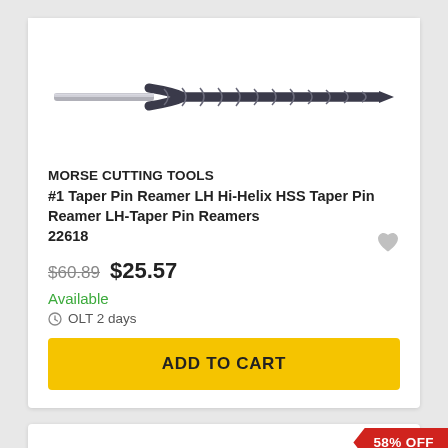[Figure (photo): A taper pin reamer drill bit with helical flutes, metallic, shown horizontally against white background.]
MORSE CUTTING TOOLS
#1 Taper Pin Reamer LH Hi-Helix HSS Taper Pin Reamer LH-Taper Pin Reamers
22618
$60.89  $25.57
Available
OLT 2 days
ADD TO CART
58% OFF